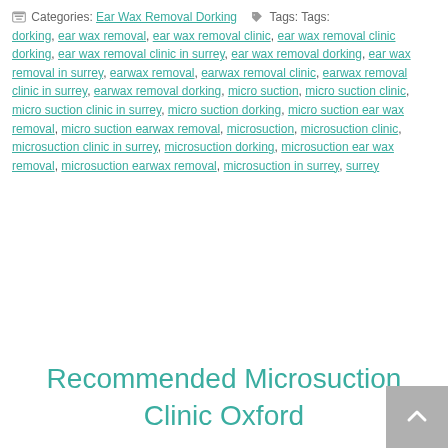Categories: Ear Wax Removal Dorking   Tags: Tags: dorking, ear wax removal, ear wax removal clinic, ear wax removal clinic dorking, ear wax removal clinic in surrey, ear wax removal dorking, ear wax removal in surrey, earwax removal, earwax removal clinic, earwax removal clinic in surrey, earwax removal dorking, micro suction, micro suction clinic, micro suction clinic in surrey, micro suction dorking, micro suction ear wax removal, micro suction earwax removal, microsuction, microsuction clinic, microsuction clinic in surrey, microsuction dorking, microsuction ear wax removal, microsuction earwax removal, microsuction in surrey, surrey
Recommended Microsuction Clinic Oxford